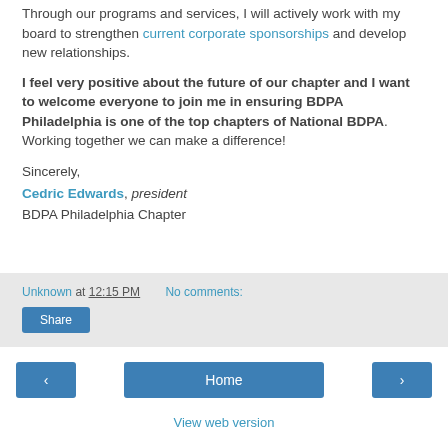Through our programs and services, I will actively work with my board to strengthen current corporate sponsorships and develop new relationships.
I feel very positive about the future of our chapter and I want to welcome everyone to join me in ensuring BDPA Philadelphia is one of the top chapters of National BDPA. Working together we can make a difference!
Sincerely,
Cedric Edwards, president
BDPA Philadelphia Chapter
Unknown at 12:15 PM   No comments:
Share
‹
Home
›
View web version